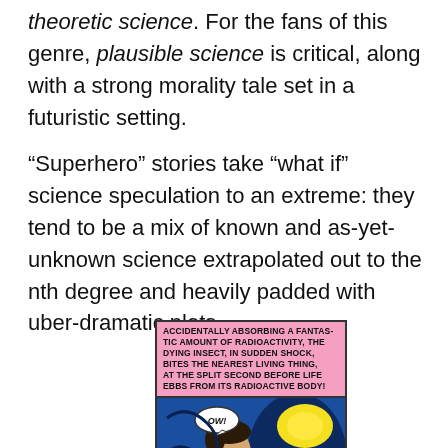theoretic science. For the fans of this genre, plausible science is critical, along with a strong morality tale set in a futuristic setting.
“Superhero” stories take “what if” science speculation to an extreme: they tend to be a mix of known and as-yet-unknown science extrapolated out to the nth degree and heavily padded with uber-dramatic plots.
[Figure (illustration): A comic book panel showing a person being bitten by a radioactive insect. A pink caption box reads: 'ACCIDENTALLY ABSORBING A FANTASTIC AMOUNT OF RADIOACTIVITY, THE DYING INSECT, IN SUDDEN SHOCK, BITES THE NEAREST LIVING THING, AT THE SPLIT SECOND BEFORE LIFE EBBS FROM ITS RADIOACTIVE BODY!' A speech bubble says 'OW!' The scene shows a young man in a blue swirling background with a yellow glowing insect biting his hand.]